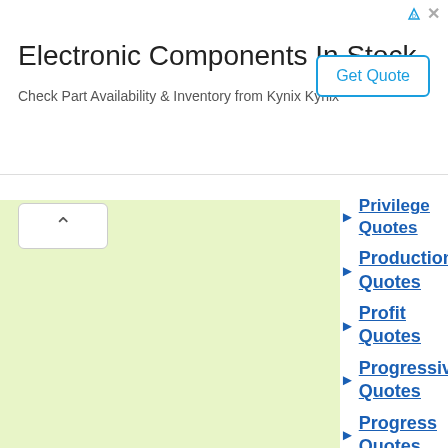[Figure (other): Advertisement banner: Electronic Components In Stock - Check Part Availability & Inventory from Kynix Kynix - Get Quote button]
Privilege Quotes
Production Quotes
Profit Quotes
Progressive Quotes
Progress Quotes
Prohibition Quotes
Propaganda Quotes
Property Quotes
Prosecution Quotes
Prosperity Quotes
Protectionism Quotes
Protection Quotes
Protest Quotes
Proverbs Quotes
Providence Quotes
Prudence Quotes
Psycho-politics Quotes